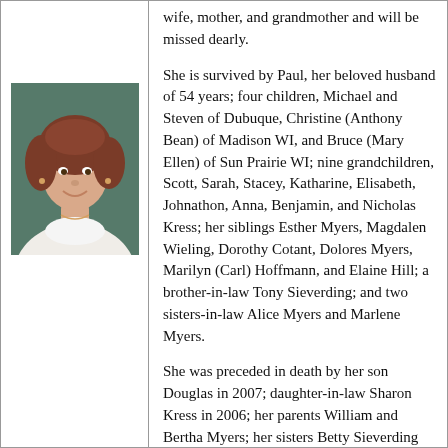[Figure (photo): Portrait photo of an elderly woman with short curly reddish-brown hair, wearing a white turtleneck, smiling, against a dark teal background.]
wife, mother, and grandmother and will be missed dearly.
She is survived by Paul, her beloved husband of 54 years; four children, Michael and Steven of Dubuque, Christine (Anthony Bean) of Madison WI, and Bruce (Mary Ellen) of Sun Prairie WI; nine grandchildren, Scott, Sarah, Stacey, Katharine, Elisabeth, Johnathon, Anna, Benjamin, and Nicholas Kress; her siblings Esther Myers, Magdalen Wieling, Dorothy Cotant, Dolores Myers, Marilyn (Carl) Hoffmann, and Elaine Hill; a brother-in-law Tony Sieverding; and two sisters-in-law Alice Myers and Marlene Myers.
She was preceded in death by her son Douglas in 2007; daughter-in-law Sharon Kress in 2006; her parents William and Bertha Myers; her sisters Betty Sieverding and Mary DeSloover; her brothers Albert and Leonard Myers; and brothers-in-law Bernard DeSloover, James Cotant, and Ralph Wieling.